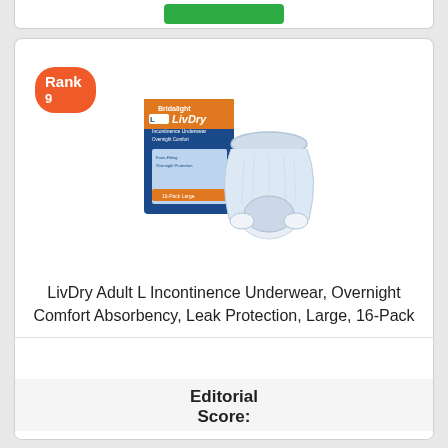[Figure (photo): LivDry adult incontinence underwear product shot showing box and diaper garment]
LivDry Adult L Incontinence Underwear, Overnight Comfort Absorbency, Leak Protection, Large, 16-Pack
Editorial Score: 9.6
Buy Now